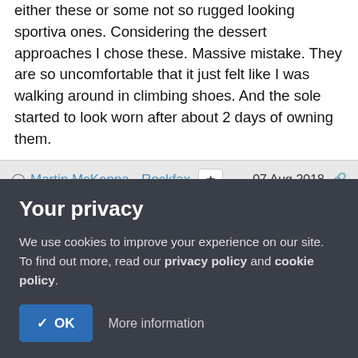either these or some not so rugged looking sportiva ones. Considering the dessert approaches I chose these. Massive mistake. They are so uncomfortable that it just felt like I was walking around in climbing shoes. And the sole started to look worn after about 2 days of owning them.
Martin McKenna - Rockfax   [star]   07 Aug 2018
In reply to Wry Spudding:
> ...and don't expect them to last very long. Mine haven't
Your privacy
We use cookies to improve your experience on our site. To find out more, read our privacy policy and cookie policy.
✓ OK   More information